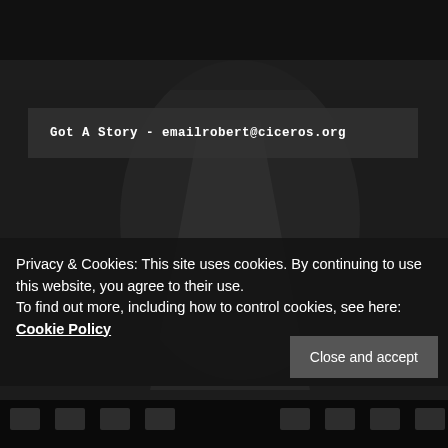[Figure (photo): Dark cinematic background image, appears to show a film-related or stage setting with dark tones and subtle light shapes]
Got A Story - emailrobert@ciceros.org
Privacy & Cookies: This site uses cookies. By continuing to use this website, you agree to their use.
To find out more, including how to control cookies, see here: Cookie Policy